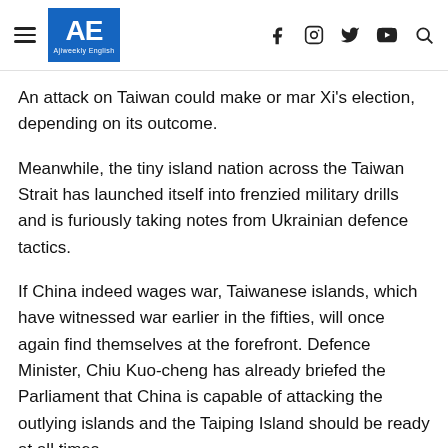AE Ajiweekly English
An attack on Taiwan could make or mar Xi's election, depending on its outcome.
Meanwhile, the tiny island nation across the Taiwan Strait has launched itself into frenzied military drills and is furiously taking notes from Ukrainian defence tactics.
If China indeed wages war, Taiwanese islands, which have witnessed war earlier in the fifties, will once again find themselves at the forefront. Defence Minister, Chiu Kuo-cheng has already briefed the Parliament that China is capable of attacking the outlying islands and the Taiping Island should be ready at all times.
Namrata Hasija, Research Associate at the Centre for China Analysis and Strategy (CCAS), told India Narrative that if ever China wants to capture Taiwan, it has to first capture the